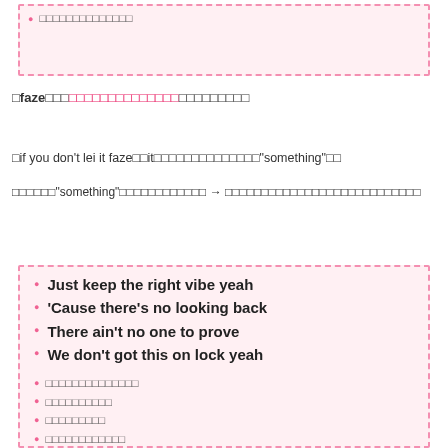□□□□□□□□□□□□□□ (dashed box top)
□faze□□□□□□□□□□□□□□□□□□□□□□□
□if you don't lei it faze□□it□□□□□□□□□□□□□□□"something"□□
□□□□□□"something"□□□□□□□□□□□□ → □□□□□□□□□□□□□□□□□□□□□□□□□□□
Just keep the right vibe yeah
'Cause there's no looking back
There ain't no one to prove
We don't got this on lock yeah
□□□□□□□□□□□□□□
□□□□□□□□□□
□□□□□□□□□
□□□□□□□□□□□□